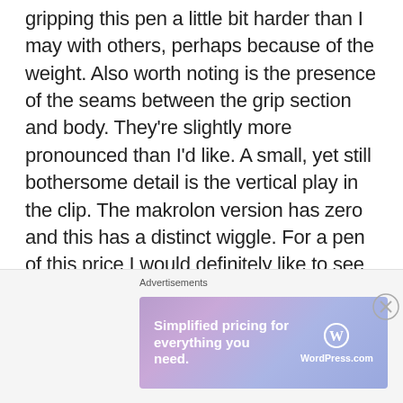gripping this pen a little bit harder than I may with others, perhaps because of the weight. Also worth noting is the presence of the seams between the grip section and body. They're slightly more pronounced than I'd like. A small, yet still bothersome detail is the vertical play in the clip. The makrolon version has zero and this has a distinct wiggle. For a pen of this price I would definitely like to see the fit and finish taken up another notch.
Pros:
[Figure (other): Advertisement banner for WordPress.com with text 'Simplified pricing for everything you need.' and WordPress logo]